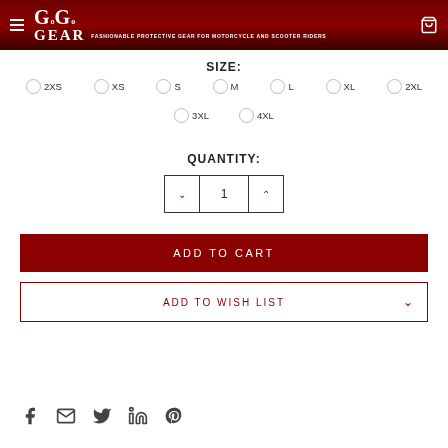GG GEAR — FASHIONABLE PROTECTIVE GEAR FOR MOTORCYCLE AND SCOOTER RIDERS
SIZE:
2XS  XS  S  M  L  XL  2XL  3XL  4XL (radio button size selector)
QUANTITY:
Quantity control: decrease / 1 / increase
ADD TO CART
ADD TO WISH LIST
[Figure (other): Social sharing icons: Facebook, Email, Twitter, LinkedIn, Pinterest]